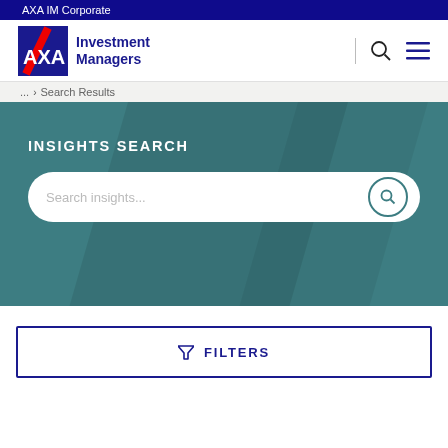AXA IM Corporate
[Figure (logo): AXA Investment Managers logo with AXA shield/text mark and 'Investment Managers' brand name in dark blue]
... › Search Results
INSIGHTS SEARCH
Search insights...
FILTERS